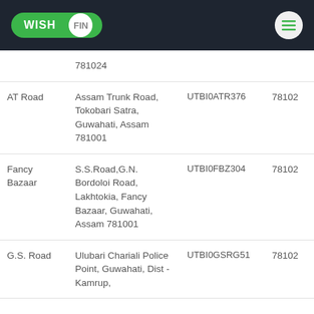WISH FIN
| Branch | Address | IFSC | PIN |
| --- | --- | --- | --- |
|  | 781024 |  |  |
| AT Road | Assam Trunk Road, Tokobari Satra, Guwahati, Assam 781001 | UTBI0ATR376 | 78102 |
| Fancy Bazaar | S.S.Road,G.N. Bordoloi Road, Lakhtokia, Fancy Bazaar, Guwahati, Assam 781001 | UTBI0FBZ304 | 78102 |
| G.S. Road | Ulubari Chariali Police Point, Guwahati, Dist - Kamrup, | UTBI0GSRG51 | 78102 |